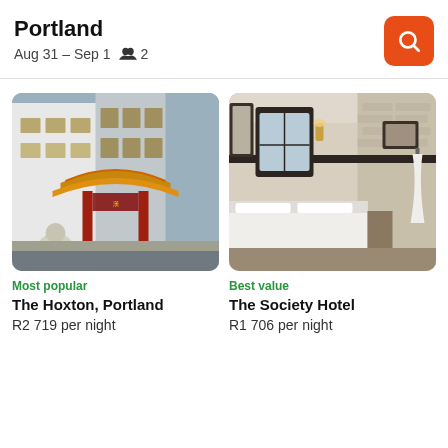Portland
Aug 31 – Sep 1   👥 2
[Figure (photo): Chinatown gate building with decorative roof, red pillars, and stone lion statue on a street corner]
Most popular
The Hoxton, Portland
R2 719 per night
[Figure (photo): Hotel room interior with white bed, arched window, brick wall, wall sconce light, and white robe on a hook]
Best value
The Society Hotel
R1 706 per night